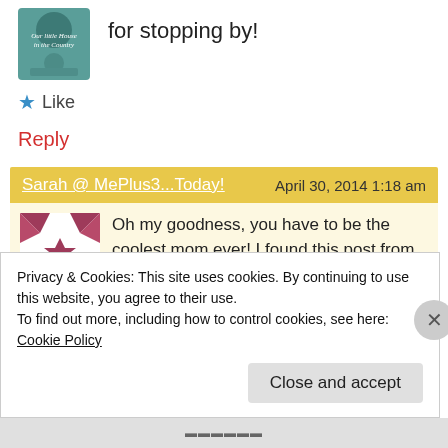for stopping by!
Like
Reply
Sarah @ MePlus3...Today!   April 30, 2014 1:18 am
Oh my goodness, you have to be the coolest mom ever! I found this post from the HDYDI link party, and I'm so glad I checked it out! I still have our
Privacy & Cookies: This site uses cookies. By continuing to use this website, you agree to their use.
To find out more, including how to control cookies, see here: Cookie Policy
Close and accept